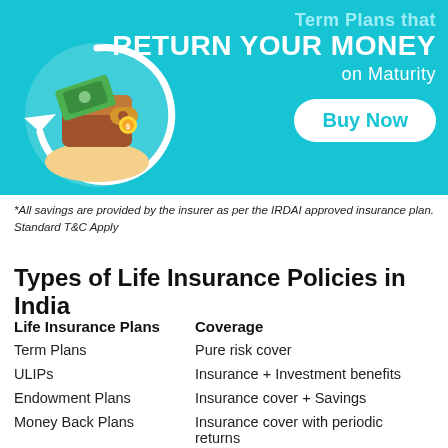[Figure (illustration): Promotional banner with cyan/teal background showing a hand holding a wallet with money/coins and a circular arrow, advertising term plans that return your money on maturity with a Buy Now button.]
*All savings are provided by the insurer as per the IRDAI approved insurance plan. Standard T&C Apply
Types of Life Insurance Policies in India
| Life Insurance Plans | Coverage |
| --- | --- |
| Term Plans | Pure risk cover |
| ULIPs | Insurance + Investment benefits |
| Endowment Plans | Insurance cover + Savings |
| Money Back Plans | Insurance cover with periodic returns |
| Whole Life | Coverage for a lifetime |